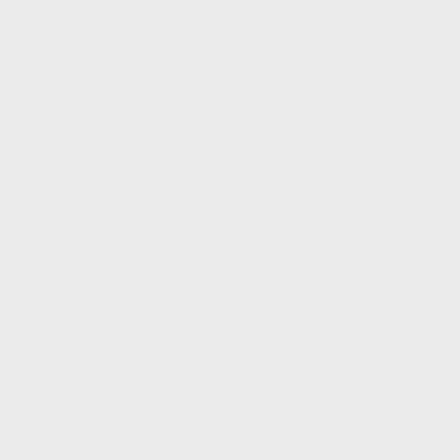| Parameter | Description |
| --- | --- |
|  | number of columns). |
| initdirection | Initial sorting direction for initsort, Set "up" (descending) or "down" (ascending). |
| disableallsort | Disable all s... both initsort... header sort... is mainly us... plugins such... the EditTablePl... disable sort... a table while editing the t... |
| headerbg | Header cell background colour. |